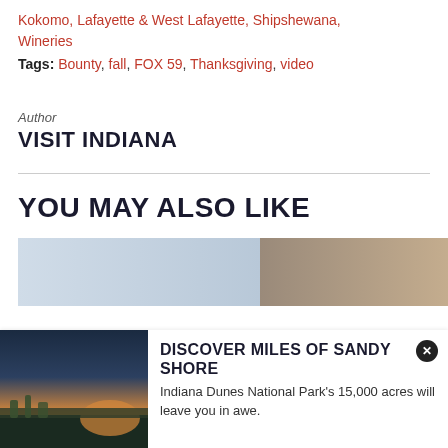Kokomo, Lafayette & West Lafayette, Shipshewana, Wineries
Tags: Bounty, fall, FOX 59, Thanksgiving, video
Author
VISIT INDIANA
YOU MAY ALSO LIKE
[Figure (photo): Two partial card images showing outdoor scenes]
[Figure (photo): Notification card with Indiana Dunes beach sunset image]
DISCOVER MILES OF SANDY SHORE
Indiana Dunes National Park's 15,000 acres will leave you in awe.